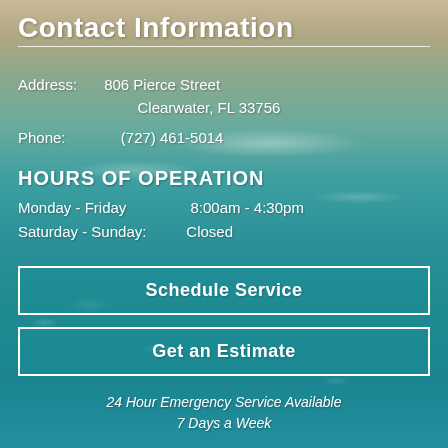Contact Information
Address:   806 Pierce Street
                Clearwater, FL 33756
Phone:   (727) 461-5014
HOURS OF OPERATION
Monday - Friday   8:00am - 4:30pm
Saturday - Sunday:   Closed
Schedule Service
Get an Estimate
24 Hour Emergency Service Available
7 Days a Week